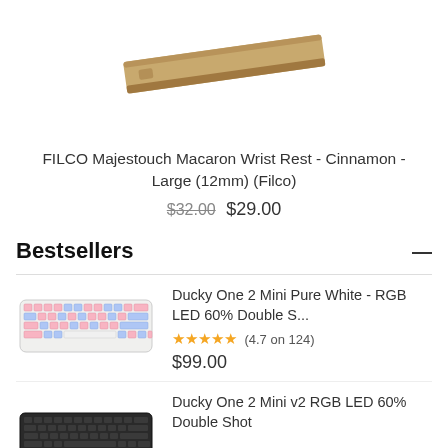[Figure (photo): A diagonal wrist rest product in cinnamon/tan color — FILCO Majestouch Macaron Wrist Rest]
FILCO Majestouch Macaron Wrist Rest - Cinnamon - Large (12mm) (Filco)
$32.00  $29.00
Bestsellers
[Figure (photo): Ducky One 2 Mini Pure White keyboard with pink and blue RGB lighting]
Ducky One 2 Mini Pure White - RGB LED 60% Double S...
★★★★★ (4.7 on 124)
$99.00
[Figure (photo): Ducky One 2 Mini v2 black keyboard]
Ducky One 2 Mini v2 RGB LED 60% Double Shot